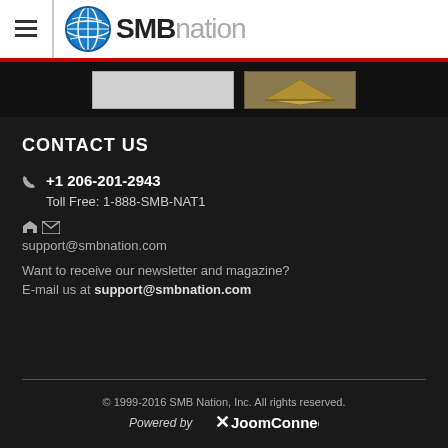SMBnation
[Figure (logo): SMB Nation logo with globe icon and text]
[Figure (other): Banner strip with two buttons/banners]
CONTACT US
+1 206-201-2943
Toll Free: 1-888-SMB-NAT1
support@smbnation.com
Want to receive our newsletter and magazine?
E-mail us at support@smbnation.com
© 1999-2016 SMB Nation, Inc. All rights reserved.
Powered by JoomConnect